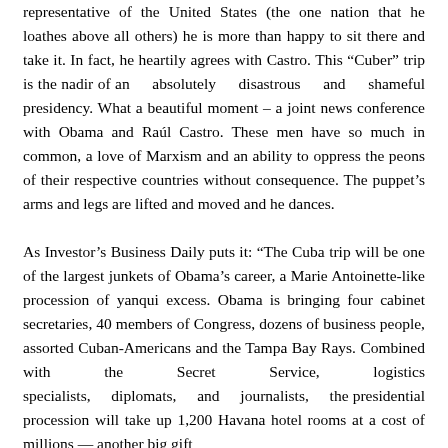representative of the United States (the one nation that he loathes above all others) he is more than happy to sit there and take it. In fact, he heartily agrees with Castro. This “Cuber” trip is the nadir of an absolutely disastrous and shameful presidency. What a beautiful moment – a joint news conference with Obama and Raúl Castro. These men have so much in common, a love of Marxism and an ability to oppress the peons of their respective countries without consequence. The puppet’s arms and legs are lifted and moved and he dances.

As Investor’s Business Daily puts it: “The Cuba trip will be one of the largest junkets of Obama’s career, a Marie Antoinette-like procession of yanqui excess. Obama is bringing four cabinet secretaries, 40 members of Congress, dozens of business people, assorted Cuban-Americans and the Tampa Bay Rays. Combined with the Secret Service, logistics specialists, diplomats, and journalists, the presidential procession will take up 1,200 Havana hotel rooms at a cost of millions — another big gift